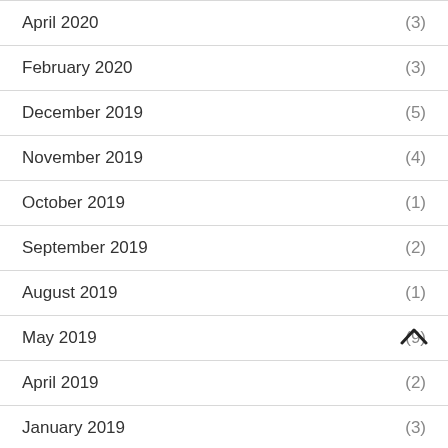April 2020 (3)
February 2020 (3)
December 2019 (5)
November 2019 (4)
October 2019 (1)
September 2019 (2)
August 2019 (1)
May 2019 (9)
April 2019 (2)
January 2019 (3)